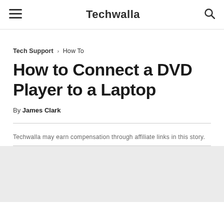≡  Techwalla  🔍
Tech Support › How To
How to Connect a DVD Player to a Laptop
By James Clark
Techwalla may earn compensation through affiliate links in this story.
[Figure (other): Gray placeholder block at bottom of page]